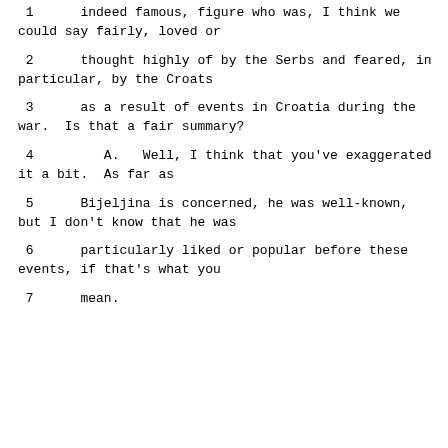1      indeed famous, figure who was, I think we could say fairly, loved or
2      thought highly of by the Serbs and feared, in particular, by the Croats
3      as a result of events in Croatia during the war.  Is that a fair summary?
4         A.   Well, I think that you've exaggerated it a bit.  As far as
5      Bijeljina is concerned, he was well-known, but I don't know that he was
6      particularly liked or popular before these events, if that's what you
7      mean.